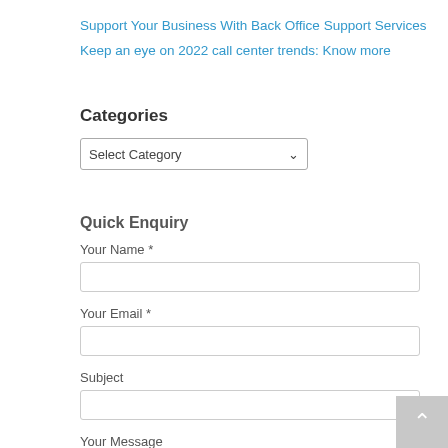Support Your Business With Back Office Support Services
Keep an eye on 2022 call center trends: Know more
Categories
Select Category
Quick Enquiry
Your Name *
Your Email *
Subject
Your Message